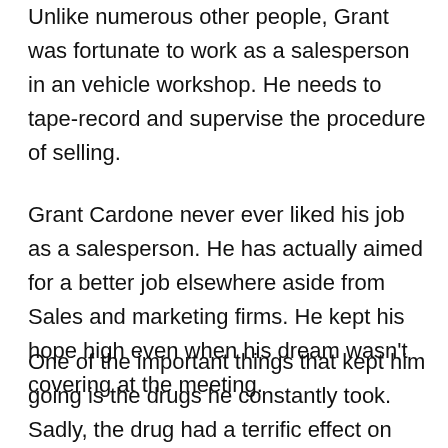Unlike numerous other people, Grant was fortunate to work as a salesperson in an vehicle workshop. He needs to tape-record and supervise the procedure of selling.
Grant Cardone never ever liked his job as a salesperson. He has actually aimed for a better job elsewhere aside from Sales and marketing firms. He kept his hope high even when his dream wasn't covering at the meeting.
One of the important things that kept him going is the drugs he constantly took. Sadly, the drug had a terrific effect on him and moved him to the rehabilitate center where he received treatments for the drug damage.